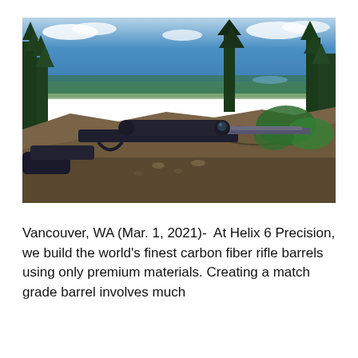[Figure (photo): A precision bolt-action rifle with a scope resting on rocky terrain on a forested hilltop, with a panoramic valley and blue sky visible in the background.]
Vancouver, WA (Mar. 1, 2021)-  At Helix 6 Precision, we build the world's finest carbon fiber rifle barrels using only premium materials. Creating a match grade barrel involves much